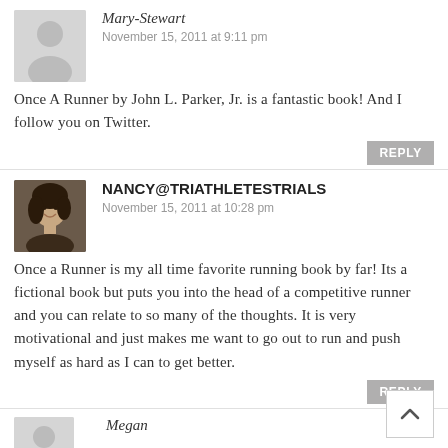[Figure (illustration): Gray placeholder avatar icon of a person silhouette]
Mary-Stewart
November 15, 2011 at 9:11 pm
Once A Runner by John L. Parker, Jr. is a fantastic book! And I follow you on Twitter.
REPLY
[Figure (photo): Profile photo of a woman with dark hair smiling]
NANCY@TRIATHLETESTRIALS
November 15, 2011 at 10:28 pm
Once a Runner is my all time favorite running book by far! Its a fictional book but puts you into the head of a competitive runner and you can relate to so many of the thoughts. It is very motivational and just makes me want to go out to run and push myself as hard as I can to get better.
REPLY
[Figure (illustration): Gray placeholder avatar icon of a person silhouette]
Megan